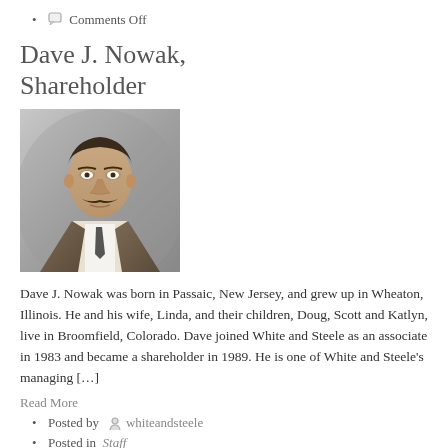Comments Off
Dave J. Nowak, Shareholder
[Figure (photo): Professional headshot of Dave J. Nowak, a man with a mustache wearing a suit and tie against a gray background]
Dave J. Nowak was born in Passaic, New Jersey, and grew up in Wheaton, Illinois. He and his wife, Linda, and their children, Doug, Scott and Katlyn, live in Broomfield, Colorado. Dave joined White and Steele as an associate in 1983 and became a shareholder in 1989. He is one of White and Steele's managing […]
Read More
Posted by whiteandsteele
Posted in Staff
Jun, 01, 2015
Comments Off